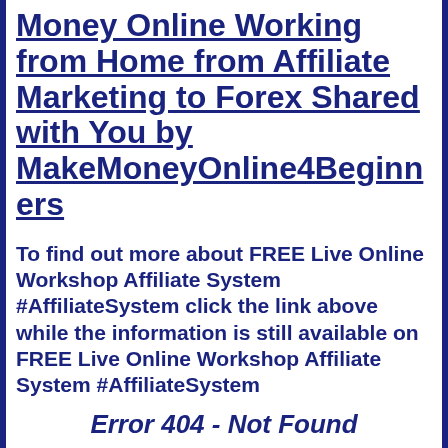Money Online Working from Home from Affiliate Marketing to Forex Shared with You by MakeMoneyOnline4Beginners
To find out more about FREE Live Online Workshop Affiliate System #AffiliateSystem click the link above while the information is still available on FREE Live Online Workshop Affiliate System #AffiliateSystem
Error 404 - Not Found